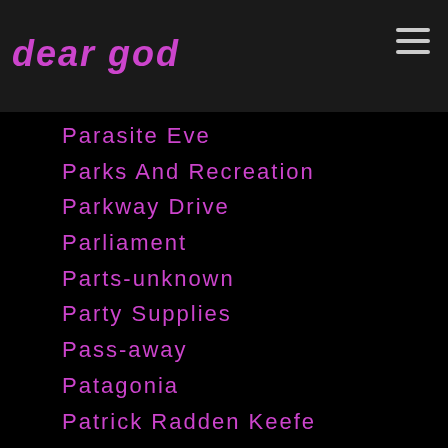dear god
Parasite Eve
Parks And Recreation
Parkway Drive
Parliament
Parts-unknown
Party Supplies
Pass-away
Patagonia
Patrick Radden Keefe
Patrik Svensson
Pat Smear
Patsy Cline
Patti Smith
Patti-smith
Patty Schemel
Paul-eddington
Pauline Black